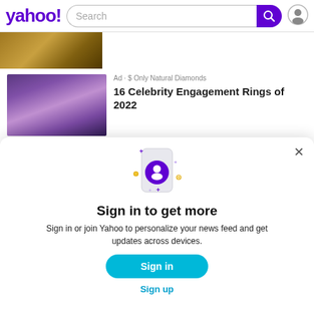yahoo! Search
[Figure (photo): Partially visible photo thumbnail at top, brownish warm tones]
[Figure (photo): Photo of two people, celebrity couple, dark purple/moody tones]
Ad · Only Natural Diamonds
16 Celebrity Engagement Rings of 2022
[Figure (illustration): Yahoo sign-in modal illustration: phone icon with purple user avatar, decorative sparkle stars in purple and yellow]
Sign in to get more
Sign in or join Yahoo to personalize your news feed and get updates across devices.
Sign in
Sign up